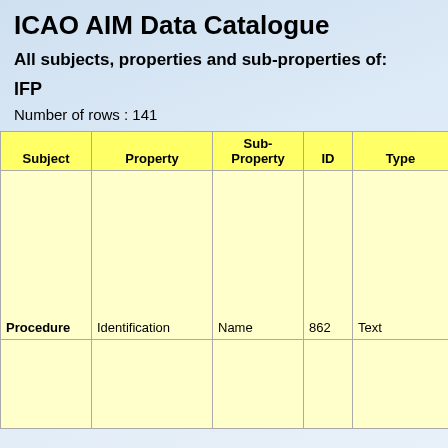ICAO AIM Data Catalogue
All subjects, properties and sub-properties of:
IFP
Number of rows : 141
| Subject | Property | Sub-Property | ID | Type | Description |
| --- | --- | --- | --- | --- | --- |
| Procedure | Identification | Name | 862 | Text | Name of the instrument flight procedure |
|  |  |  |  |  | The name describing type of radio navigatio… |